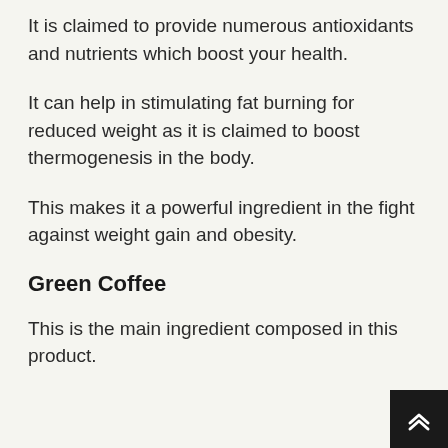It is claimed to provide numerous antioxidants and nutrients which boost your health.
It can help in stimulating fat burning for reduced weight as it is claimed to boost thermogenesis in the body.
This makes it a powerful ingredient in the fight against weight gain and obesity.
Green Coffee
This is the main ingredient composed in this product.